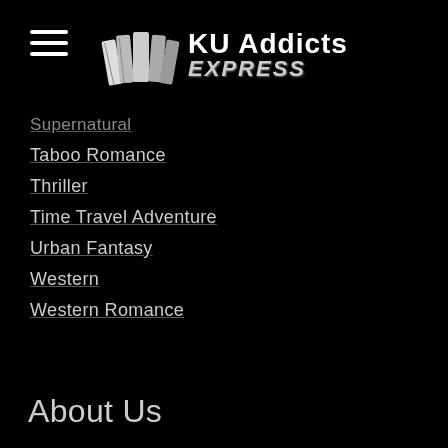KU Addicts EXPRESS
Supernatural
Taboo Romance
Thriller
Time Travel Adventure
Urban Fantasy
Western
Western Romance
Womens Fiction
Young Adult
RSS Feed
About Us